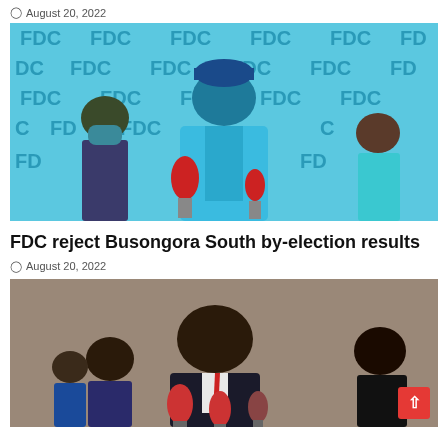August 20, 2022
[Figure (photo): A man wearing a blue cap and teal shirt speaking at a press conference in front of an FDC (Forum for Democratic Change) party backdrop, with microphones in front and other people around him.]
FDC reject Busongora South by-election results
August 20, 2022
[Figure (photo): A man in a dark suit with red tie speaking at a press conference with microphones in front of him, surrounded by other people.]